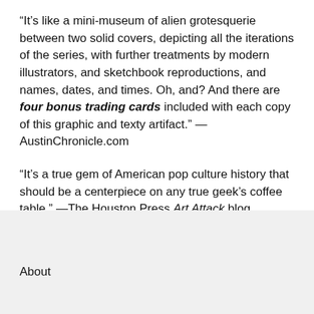“It’s like a mini-museum of alien grotesquerie between two solid covers, depicting all the iterations of the series, with further treatments by modern illustrators, and sketchbook reproductions, and names, dates, and times. Oh, and? And there are four bonus trading cards included with each copy of this graphic and texty artifact.” —AustinChronicle.com
“It’s a true gem of American pop culture history that should be a centerpiece on any true geek’s coffee table.” —The Houston Press Art Attack blog
About